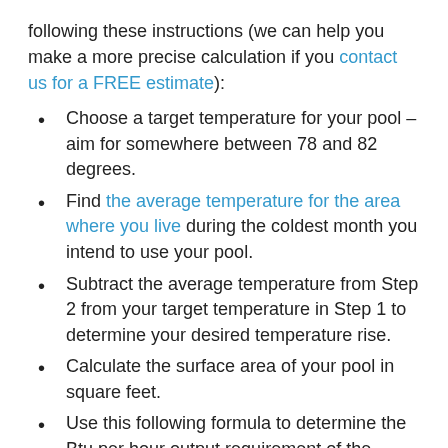following these instructions (we can help you make a more precise calculation if you contact us for a FREE estimate):
Choose a target temperature for your pool – aim for somewhere between 78 and 82 degrees.
Find the average temperature for the area where you live during the coldest month you intend to use your pool.
Subtract the average temperature from Step 2 from your target temperature in Step 1 to determine your desired temperature rise.
Calculate the surface area of your pool in square feet.
Use this following formula to determine the Btu per hour output requirement of the heater*: Pool Area x Temperature Rise x 12
Efficiency
To determine your heater's efficiency, it will list...